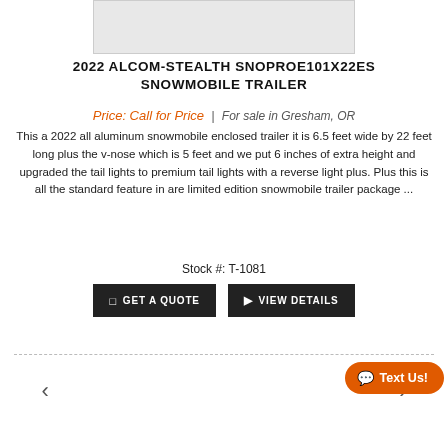[Figure (photo): Partial view of a snowmobile trailer (top portion cropped)]
2022 ALCOM-STEALTH SNOPROE101X22ES SNOWMOBILE TRAILER
Price: Call for Price | For sale in Gresham, OR
This a 2022 all aluminum snowmobile enclosed trailer it is 6.5 feet wide by 22 feet long plus the v-nose which is 5 feet and we put 6 inches of extra height and upgraded the tail lights to premium tail lights with a reverse light plus. Plus this is all the standard feature in are limited edition snowmobile trailer package ...
Stock #: T-1081
GET A QUOTE
VIEW DETAILS
[Figure (photo): Partial view of a snowmobile trailer with blue ON text visible, with Text Us! chat button overlay]